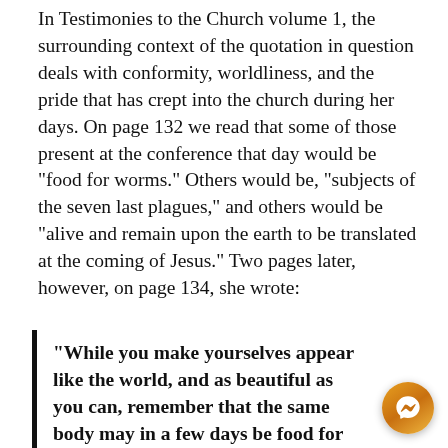In Testimonies to the Church volume 1, the surrounding context of the quotation in question deals with conformity, worldliness, and the pride that has crept into the church during her days. On page 132 we read that some of those present at the conference that day would be “food for worms.” Others would be, “subjects of the seven last plagues,” and others would be “alive and remain upon the earth to be translated at the coming of Jesus.” Two pages later, however, on page 134, she wrote:
“While you make yourselves appear like the world, and as beautiful as you can, remember that the same body may in a few days be food for worms.”